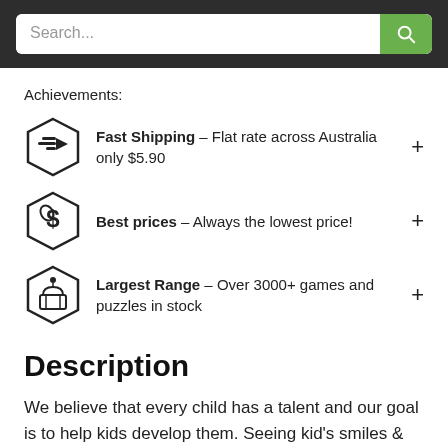Search...
Achievements:
Fast Shipping - Flat rate across Australia only $5.90
Best prices - Always the lowest price!
Largest Range - Over 3000+ games and puzzles in stock
Description
We believe that every child has a talent and our goal is to help kids develop them. Seeing kid's smiles &